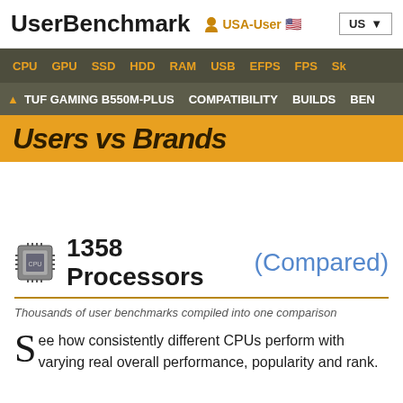UserBenchmark  USA-User  US
CPU  GPU  SSD  HDD  RAM  USB  EFPS  FPS  Sk
▲ TUF GAMING B550M-PLUS  COMPATIBILITY  BUILDS  BEN
[Figure (screenshot): Orange banner with bold italic text 'Users vs Brands']
1358 Processors (Compared)
Thousands of user benchmarks compiled into one comparison
See how consistently different CPUs perform with varying real world performance, popularity and rank.